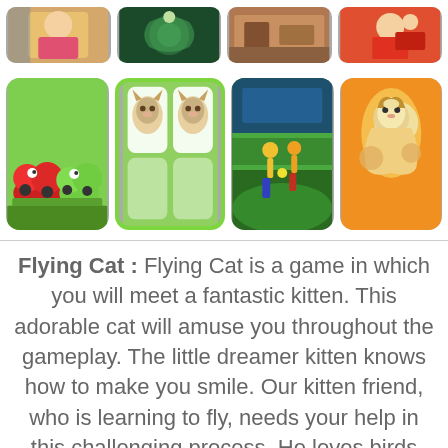[Figure (screenshot): Top row of four game thumbnail images: fashion/dress-up game, dark floral background game, interior/escape room game, sports game with red outfit]
[Figure (screenshot): Second row of four game thumbnails: cartoon cars game (red and green cars), Flying Cat game with two cat characters on green border background, soccer/football game, bird/parrot game on orange background]
Flying Cat : Flying Cat is a game in which you will meet a fantastic kitten. This adorable cat will amuse you throughout the gameplay. The little dreamer kitten knows how to make you smile. Our kitten friend, who is learning to fly, needs your help in this challenging process. He loves birds very much and dreams about flying in the sky. To help him learn how to fly well, you need to be in a good mood